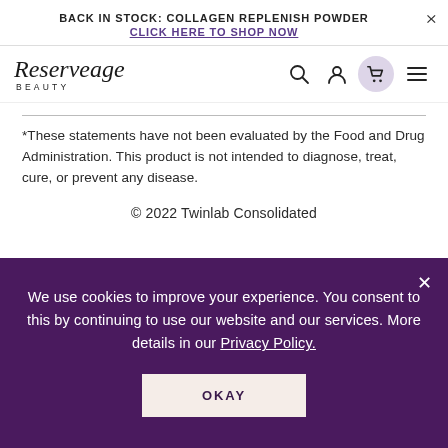BACK IN STOCK: COLLAGEN REPLENISH POWDER CLICK HERE TO SHOP NOW
[Figure (logo): Reserveage Beauty logo — italic serif wordmark with 'BEAUTY' in small caps below]
*These statements have not been evaluated by the Food and Drug Administration. This product is not intended to diagnose, treat, cure, or prevent any disease.
© 2022 Twinlab Consolidated
We use cookies to improve your experience. You consent to this by continuing to use our website and our services. More details in our Privacy Policy. OKAY